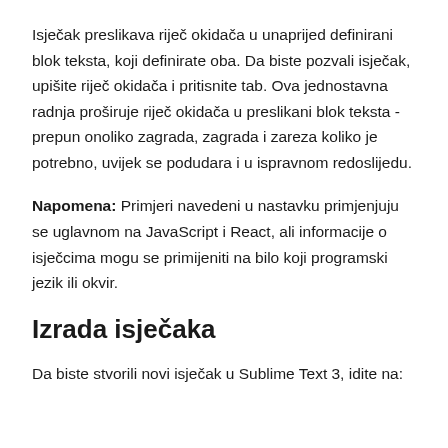Isječak preslikava riječ okidača u unaprijed definirani blok teksta, koji definirate oba. Da biste pozvali isječak, upišite riječ okidača i pritisnite tab. Ova jednostavna radnja proširuje riječ okidača u preslikani blok teksta - prepun onoliko zagrada, zagrada i zareza koliko je potrebno, uvijek se podudara i u ispravnom redoslijedu.
Napomena: Primjeri navedeni u nastavku primjenjuju se uglavnom na JavaScript i React, ali informacije o isječcima mogu se primijeniti na bilo koji programski jezik ili okvir.
Izrada isječaka
Da biste stvorili novi isječak u Sublime Text 3, idite na: